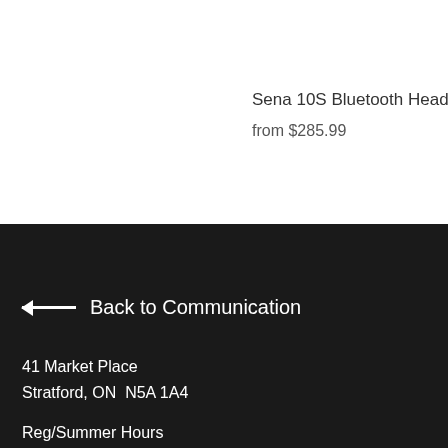Sena 10S Bluetooth Heads
from $285.99
← Back to Communication
41 Market Place
Stratford, ON  N5A 1A4
Reg/Summer Hours